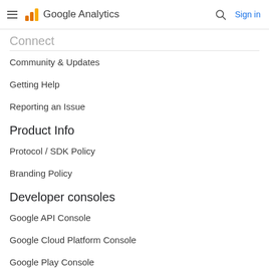Google Analytics — Sign in
Connect
Community & Updates
Getting Help
Reporting an Issue
Product Info
Protocol / SDK Policy
Branding Policy
Developer consoles
Google API Console
Google Cloud Platform Console
Google Play Console
Firebase Console